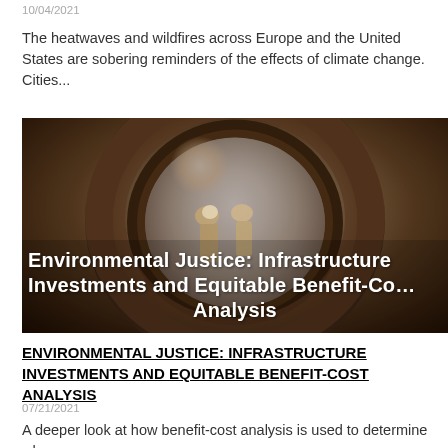10/04/2021
The heatwaves and wildfires across Europe and the United States are sobering reminders of the effects of climate change. Cities...
[Figure (photo): Workers inside a large tunnel/pipe with headlamps, with overlaid bold white text reading 'Environmental Justice: Infrastructure Investments and Equitable Benefit-Cost Analysis']
ENVIRONMENTAL JUSTICE: INFRASTRUCTURE INVESTMENTS AND EQUITABLE BENEFIT-COST ANALYSIS
07/21/2021
A deeper look at how benefit-cost analysis is used to determine who